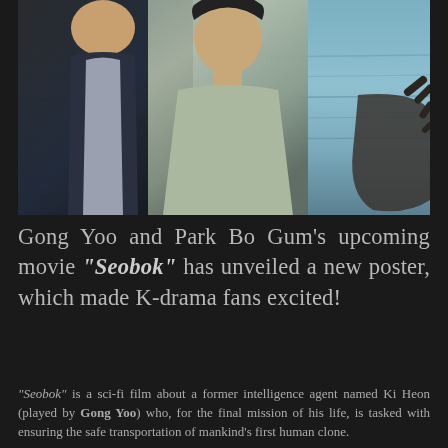[Figure (photo): Movie still showing two actors standing with ocean/water background. Left figure appears to be a man in a dark suit, right figure is a person in a light-colored top with short hair, reaching hand toward something on the right. Teal/blue water visible in background.]
Gong Yoo and Park Bo Gum's upcoming movie "Seobok" has unveiled a new poster, which made K-drama fans excited!
"Seobok" is a sci-fi film about a former intelligence agent named Ki Heon (played by Gong Yoo) who, for the final mission of his life, is tasked with ensuring the safe transportation of mankind's first human clone.